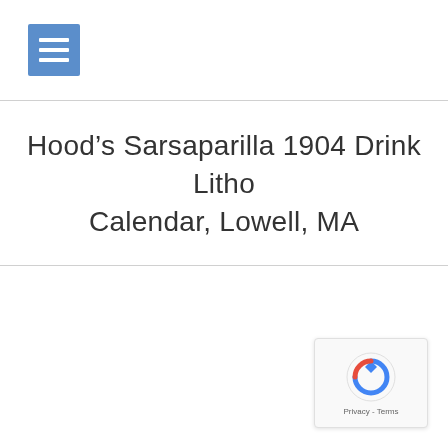Hood's Sarsaparilla 1904 Drink Litho Calendar, Lowell, MA
[Figure (logo): Google reCAPTCHA badge with spinning arrow logo and Privacy - Terms text]